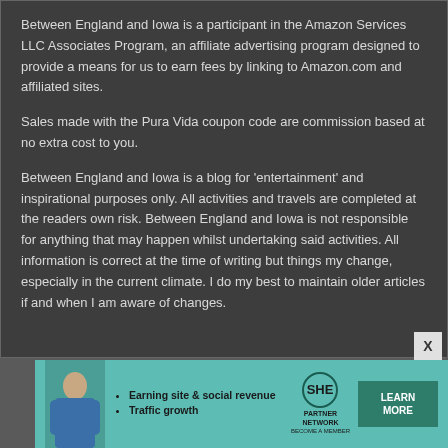Between England and Iowa is a participant in the Amazon Services LLC Associates Program, an affiliate advertising program designed to provide a means for us to earn fees by linking to Amazon.com and affiliated sites.
Sales made with the Pura Vida coupon code are commission based at no extra cost to you.
Between England and Iowa is a blog for 'entertainment' and inspirational purposes only. All activities and travels are completed at the readers own risk. Between England and Iowa is not responsible for anything that may happen whilst undertaking said activities. All information is correct at the time of writing but things my change, especially in the current climate. I do my best to maintain older articles if and when I am aware of changes.
[Figure (infographic): SHE Partner Network advertisement banner with a woman's photo, bullet points about earning site & social revenue and traffic growth, SHE logo, and a Learn More button]